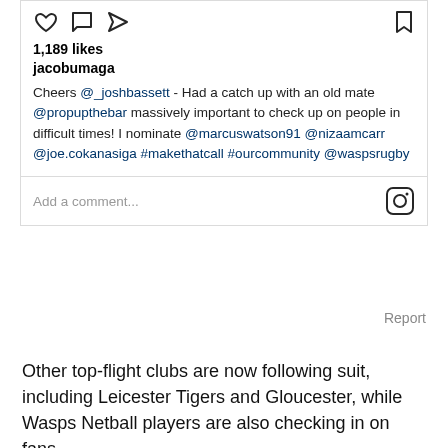[Figure (screenshot): Instagram post screenshot showing like/comment/share icons, bookmark icon, 1189 likes, username jacobumaga, and post text with mentions and hashtags, plus a comment input bar with Instagram logo]
Report
Other top-flight clubs are now following suit, including Leicester Tigers and Gloucester, while Wasps Netball players are also checking in on fans.
He added: "No one really knows what is going on at the moment and the idea is spreading throughout the